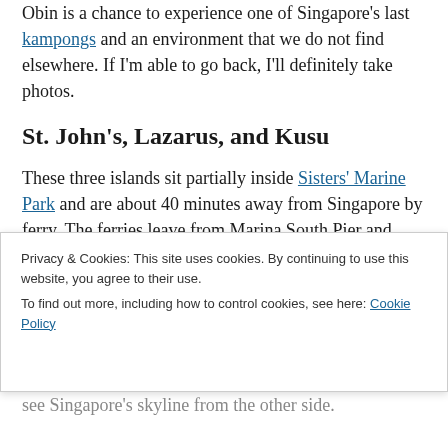Obin is a chance to experience one of Singapore's last kampongs and an environment that we do not find elsewhere. If I'm able to go back, I'll definitely take photos.
St. John's, Lazarus, and Kusu
These three islands sit partially inside Sisters' Marine Park and are about 40 minutes away from Singapore by ferry. The ferries leave from Marina South Pier and move between islands according to a set schedule. One round trip ticket costs $15 and there was no fee for bikes. The islands are quite large if you plan to explore on foot but bikes allowed us to cover a lot more ground and spend time in places that would have been a little too far to walk. It is also important to note that are no s t
Privacy & Cookies: This site uses cookies. By continuing to use this website, you agree to their use.
To find out more, including how to control cookies, see here: Cookie Policy
Close and accept
see Singapore's skyline from the other side.